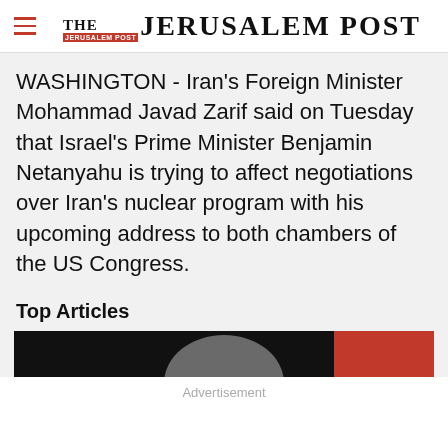THE JERUSALEM POST
WASHINGTON - Iran's Foreign Minister Mohammad Javad Zarif said on Tuesday that Israel's Prime Minister Benjamin Netanyahu is trying to affect negotiations over Iran's nuclear program with his upcoming address to both chambers of the US Congress.
Top Articles
[Figure (photo): Partial cropped photo of a person's face against dark background with red element on the right side]
Advertisement